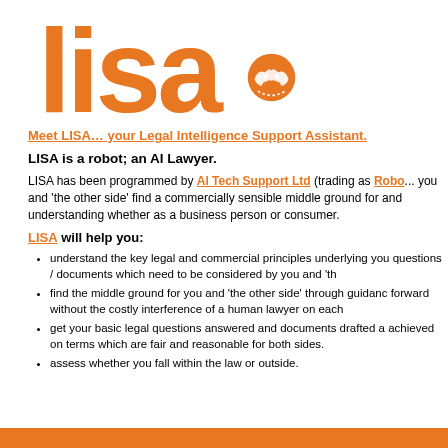[Figure (logo): LISA logo — large orange stylized letters 'lisa' with a handshake icon incorporated into the letter 'a']
Meet LISA… your Legal Intelligence Support Assistant.
LISA is a robot; an AI Lawyer.
LISA has been programmed by AI Tech Support Ltd (trading as Robo...) you and 'the other side' find a commercially sensible middle ground for and understanding whether as a business person or consumer.
LISA will help you:
understand the key legal and commercial principles underlying you questions / documents which need to be considered by you and 'th
find the middle ground for you and 'the other side' through guidanc forward without the costly interference of a human lawyer on each
get your basic legal questions answered and documents drafted a achieved on terms which are fair and reasonable for both sides.
assess whether you fall within the law or outside.